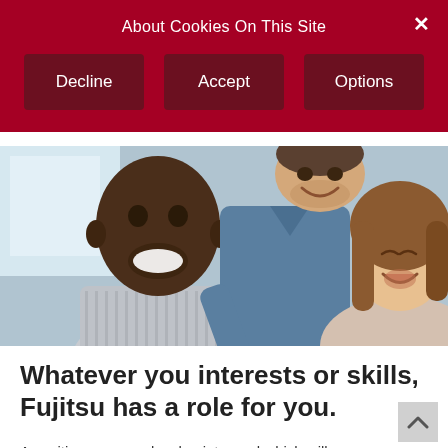About Cookies On This Site
Decline
Accept
Options
[Figure (photo): Three people laughing together in a workplace setting — a Black man in a striped shirt in the foreground, a man in a blue denim shirt leaning over, and a woman with brown hair smiling on the right.]
Whatever you interests or skills, Fujitsu has a role for you.
A position you can develop into, and which will